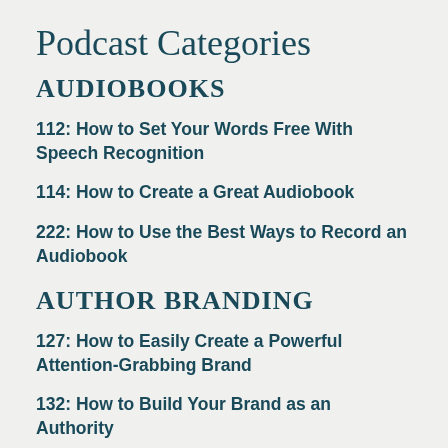Podcast Categories
AUDIOBOOKS
112: How to Set Your Words Free With Speech Recognition
114: How to Create a Great Audiobook
222: How to Use the Best Ways to Record an Audiobook
AUTHOR BRANDING
127: How to Easily Create a Powerful Attention-Grabbing Brand
132: How to Build Your Brand as an Authority